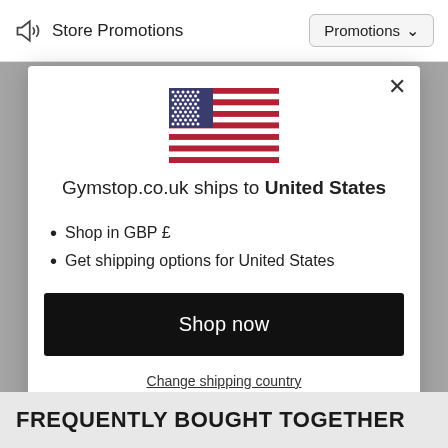Store Promotions   Promotions ∨
[Figure (illustration): US flag emoji/icon centered in modal]
Gymstop.co.uk ships to United States
Shop in GBP £
Get shipping options for United States
Shop now
Change shipping country
FREQUENTLY BOUGHT TOGETHER